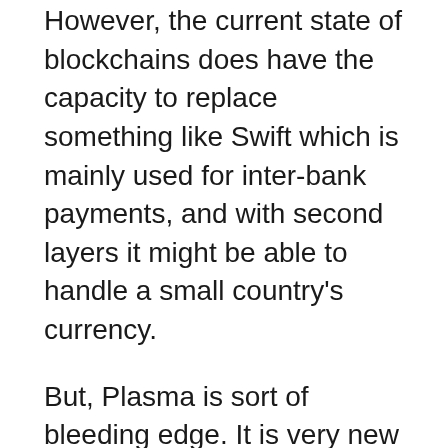However, the current state of blockchains does have the capacity to replace something like Swift which is mainly used for inter-bank payments, and with second layers it might be able to handle a small country's currency.
But, Plasma is sort of bleeding edge. It is very new tech. It will need some time to prove itself and to be refined. It does have some downsides which can be mitigated but experience first needs to tell us what part of Plasma is fine and working well and what part might need some refinements.
All of which means in our view, where a national currency is concerned, now is the time for studies, prototypes, tests, real life pilots,